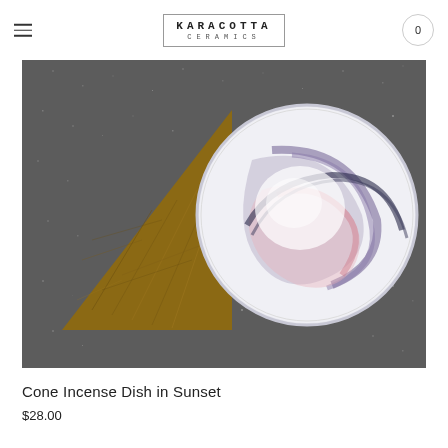KARACOTTA CERAMICS — navigation header with hamburger menu and cart (0)
[Figure (photo): Overhead photo of a white ceramic dish with blue and pink glaze swirls (Cone Incense Dish in Sunset) next to a triangular brown cork incense cone holder, on a dark speckled granite surface.]
Cone Incense Dish in Sunset
$28.00